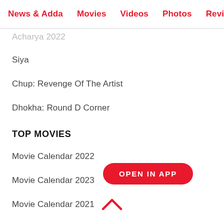News & Adda  Movies  Videos  Photos  Reviews  Box
Acharya 2022
Siya
Chup: Revenge Of The Artist
Dhokha: Round D Corner
TOP MOVIES
Movie Calendar 2022
Movie Calendar 2023
Movie Calendar 2021
Movie Calendar 2020
Movie Calendar 2019
Movie Calendar 2018